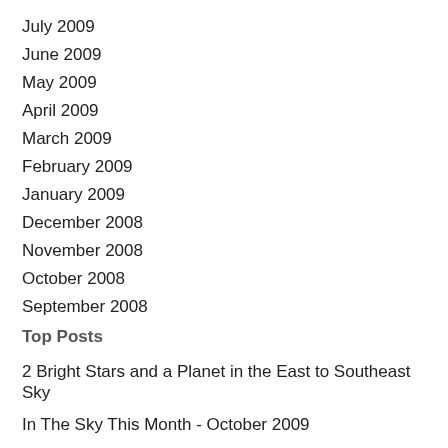July 2009
June 2009
May 2009
April 2009
March 2009
February 2009
January 2009
December 2008
November 2008
October 2008
September 2008
Top Posts
2 Bright Stars and a Planet in the East to Southeast Sky
In The Sky This Month - October 2009
In The Sky This Month - October 2008